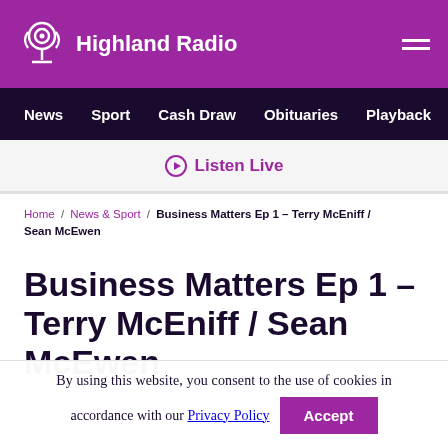Highland Radio
News / Sport / Cash Draw / Obituaries / Playback / S
Listen Live
Home / News & Sport / Business Matters Ep 1 – Terry McEniff / Sean McEwen
Business Matters Ep 1 – Terry McEniff / Sean McEwen
By using this website, you consent to the use of cookies in accordance with our Privacy Policy Accept